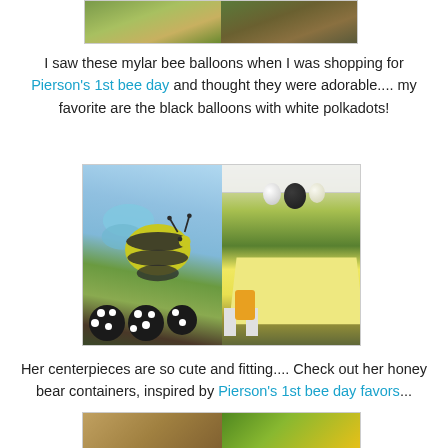[Figure (photo): Top partial photo showing outdoor party decorations with green foliage background, two side-by-side images]
I saw these mylar bee balloons when I was shopping for Pierson's 1st bee day and thought they were adorable.... my favorite are the black balloons with white polkadots!
[Figure (photo): Two side-by-side photos: left shows a bumble bee mylar balloon with black polka dot balloons below; right shows an outdoor party table with yellow tablecloth and balloon decorations under a white tent]
Her centerpieces are so cute and fitting.... Check out her honey bear containers, inspired by Pierson's 1st bee day favors...
[Figure (photo): Bottom partial photos showing party favor containers and yellow/green decorations]